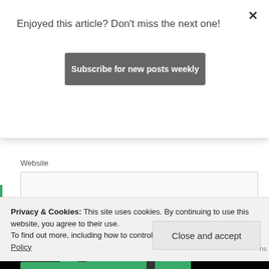Enjoyed this article? Don't miss the next one!
Subscribe for new posts weekly
Website
Notify me of follow-up comments by email.
Notify me of new posts by email.
Post Comment
Privacy & Cookies: This site uses cookies. By continuing to use this website, you agree to their use.
To find out more, including how to control cookies, see here: Cookie Policy
Close and accept